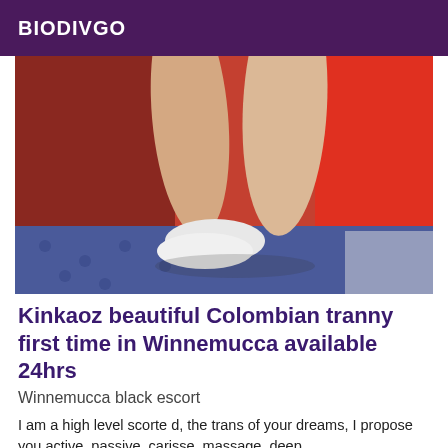BIODIVGO
[Figure (photo): Close-up photo of legs and feet wearing white low-cut socks, against a red fabric background with blue patterned floor visible at bottom]
Kinkaoz beautiful Colombian tranny first time in Winnemucca available 24hrs
Winnemucca black escort
I am a high level scorte d, the trans of your dreams, I propose you active, passive, carisse, massage, deep